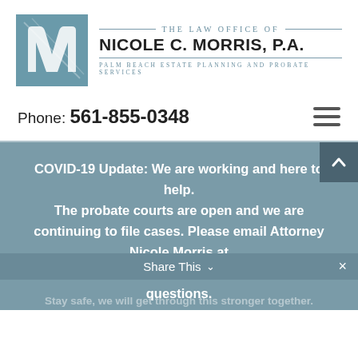[Figure (logo): The Law Office of Nicole C. Morris, P.A. logo with teal square containing stylized M letterform and firm name text]
Phone: 561-855-0348
COVID-19 Update: We are working and here to help. The probate courts are open and we are continuing to file cases. Please email Attorney Nicole Morris at nicolemorrisesq@gmail.com if you have questions. Stay safe, we will get through this stronger together.
Share This